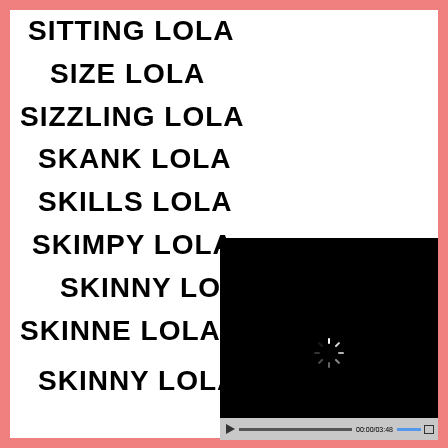SITTING LOLA
SIZE LOLA
SIZZLING LOLA
SKANK LOLA
SKILLS LOLA
SKIMPY LOLA
SKINNY LOLA
SKINNE LOLA
SKINNY LOLA
[Figure (screenshot): Video player overlay with black screen, loading spinner, and video controls showing time 00:00/03:48]